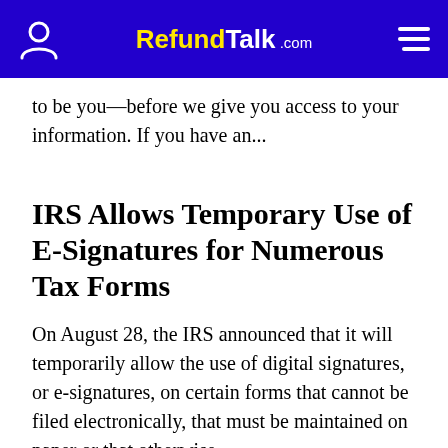RefundTalk.com
to be you—before we give you access to your information. If you have an...
IRS Allows Temporary Use of E-Signatures for Numerous Tax Forms
On August 28, the IRS announced that it will temporarily allow the use of digital signatures, or e-signatures, on certain forms that cannot be filed electronically, that must be maintained on paper or that otherwise